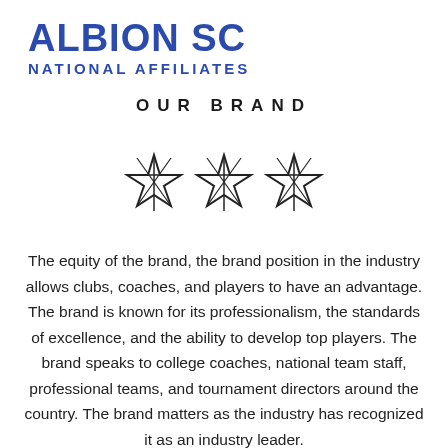ALBION SC
NATIONAL AFFILIATES
OUR BRAND
[Figure (illustration): Three decorative nautical/compass star icons arranged horizontally]
The equity of the brand, the brand position in the industry allows clubs, coaches, and players to have an advantage. The brand is known for its professionalism, the standards of excellence, and the ability to develop top players. The brand speaks to college coaches, national team staff, professional teams, and tournament directors around the country. The brand matters as the industry has recognized it as an industry leader.